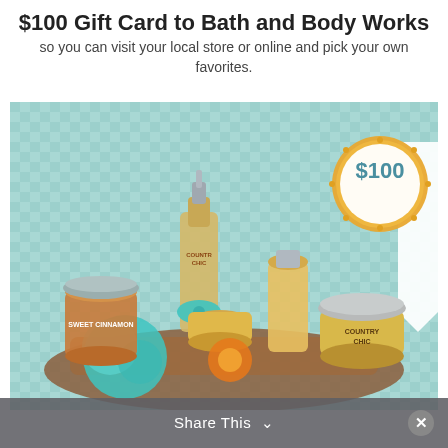$100 Gift Card to Bath and Body Works
so you can visit your local store or online and pick your own favorites.
[Figure (photo): A gift basket with Bath and Body Works Country Chic products including lotion bottles, candles, and a teal bath pouf arranged on brown shredded paper with a teal gingham background. A gold badge overlay shows '$100'.]
Share This ∨